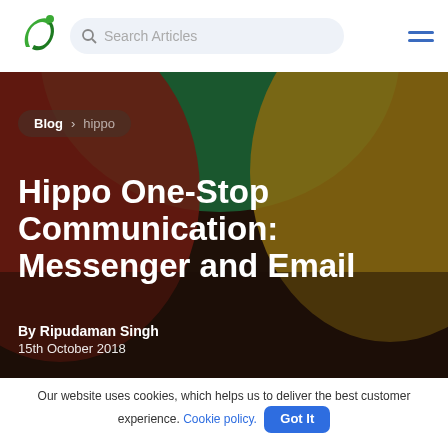Search Articles
Blog > hippo
Hippo One-Stop Communication: Messenger and Email
By Ripudaman Singh
15th October 2018
Our website uses cookies, which helps us to deliver the best customer experience. Cookie policy. Got It